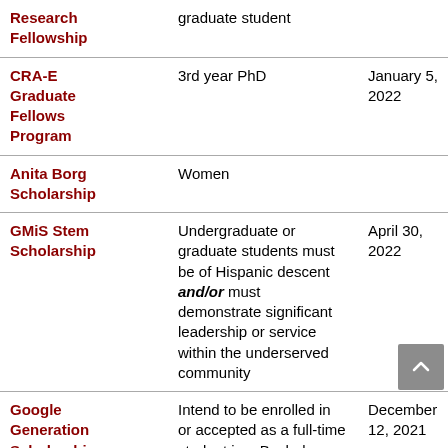| Name | Eligibility | Deadline | Amount |
| --- | --- | --- | --- |
| Research Fellowship | graduate student |  |  |
| CRA-E Graduate Fellows Program | 3rd year PhD | January 5, 2022 |  |
| Anita Borg Scholarship | Women |  | S |
| GMiS Stem Scholarship | Undergraduate or graduate students must be of Hispanic descent and/or must demonstrate significant leadership or service within the underserved community | April 30, 2022 | S |
| Google Generation Scholarship | Intend to be enrolled in or accepted as a full-time student in a Bachelors, Masters, or PhD program | December 12, 2021 |  |